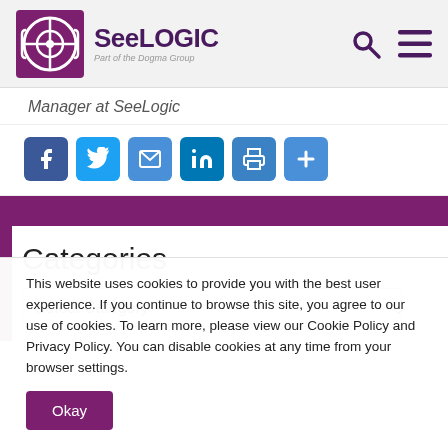SeeLOGiC – Part of the Dogma Group
Manager at SeeLogic
[Figure (infographic): Social sharing icons: Facebook, Twitter, Email, LinkedIn, Print, Share]
Categories
Select Category
This website uses cookies to provide you with the best user experience. If you continue to browse this site, you agree to our use of cookies. To learn more, please view our Cookie Policy and Privacy Policy. You can disable cookies at any time from your browser settings.
Okay